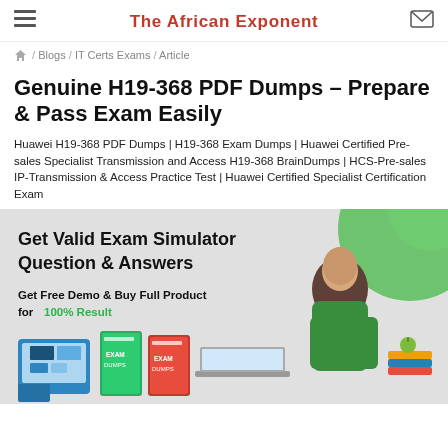The African Exponent
/ Blogs / IT Certs Exams / Article
Genuine H19-368 PDF Dumps - Prepare & Pass Exam Easily
Huawei H19-368 PDF Dumps | H19-368 Exam Dumps | Huawei Certified Pre-sales Specialist Transmission and Access H19-368 BrainDumps | HCS-Pre-sales IP-Transmission & Access Practice Test | Huawei Certified Specialist Certification Exam
[Figure (illustration): Promotional banner for exam simulator product. Dark background with green blob top right. Text: 'Get Valid Exam Simulator Question & Answers', 'Get Free Demo & Buy Full Product for 100% Result'. Shows a woman in green sweater, product boxes (green and red exam dump books), device mockup, laptop, and stack of books.]